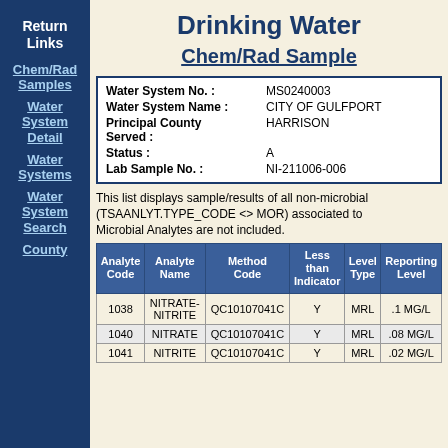Drinking Water
Chem/Rad Sample
| Water System No. : | MS0240003 |
| Water System Name : | CITY OF GULFPORT |
| Principal County Served : | HARRISON |
| Status : | A |
| Lab Sample No. : | NI-211006-006 |
This list displays sample/results of all non-microbial (TSAANLYT.TYPE_CODE <> MOR) associated to Microbial Analytes are not included.
| Analyte Code | Analyte Name | Method Code | Less than Indicator | Level Type | Reporting Level |
| --- | --- | --- | --- | --- | --- |
| 1038 | NITRATE-NITRITE | QC10107041C | Y | MRL | .1 MG/L |
| 1040 | NITRATE | QC10107041C | Y | MRL | .08 MG/L |
| 1041 | NITRITE | QC10107041C | Y | MRL | .02 MG/L |
Return Links
Chem/Rad Samples
Water System Detail
Water Systems
Water System Search
County